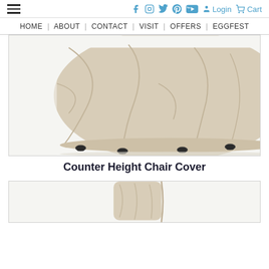Social icons: f, Instagram, Twitter, Pinterest, YouTube | Login | Cart
HOME | ABOUT | CONTACT | VISIT | OFFERS | EGGFEST
[Figure (photo): A beige/tan protective cover draped over a counter height chair, with black feet/caps visible at the bottom corners. The cover is wrinkled fabric, photographed on a white background.]
Counter Height Chair Cover
[Figure (photo): Partial view of another product image showing a tan/beige protective cover, partially cropped at the bottom of the page.]